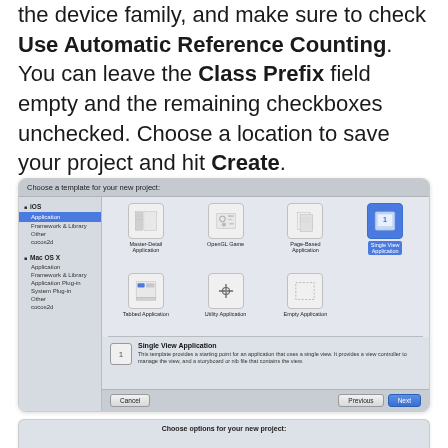the device family, and make sure to check Use Automatic Reference Counting. You can leave the Class Prefix field empty and the remaining checkboxes unchecked. Choose a location to save your project and hit Create.
[Figure (screenshot): Xcode new project template chooser dialog showing iOS and Mac OS X templates. 'Single View Application' is selected (highlighted in blue) in the top-right. The bottom panel shows 'Single View Application' with description. Cancel, Previous, and Next buttons at the bottom.]
[Figure (screenshot): Partial bottom screenshot showing 'Choose options for your new project:' dialog header.]